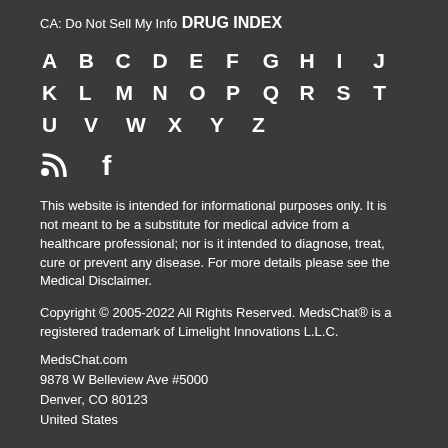CA: Do Not Sell My Info
DRUG INDEX
A B C D E F G H I J K L M N O P Q R S T U V W X Y Z
[Figure (other): RSS and Facebook social media icons]
This website is intended for informational purposes only. It is not meant to be a substitute for medical advice from a healthcare professional; nor is it intended to diagnose, treat, cure or prevent any disease. For more details please see the Medical Disclaimer.
Copyright © 2005-2022 All Rights Reserved. MedsChat® is a registered trademark of Limelight Innovations L.L.C.
MedsChat.com
9878 W Belleview Ave #5000
Denver, CO 80123
United States